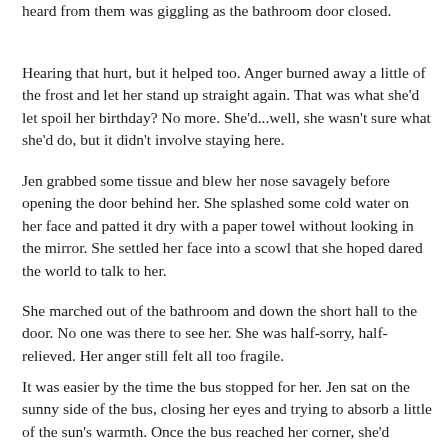heard from them was giggling as the bathroom door closed.
Hearing that hurt, but it helped too. Anger burned away a little of the frost and let her stand up straight again. That was what she'd let spoil her birthday? No more. She'd...well, she wasn't sure what she'd do, but it didn't involve staying here.
Jen grabbed some tissue and blew her nose savagely before opening the door behind her. She splashed some cold water on her face and patted it dry with a paper towel without looking in the mirror. She settled her face into a scowl that she hoped dared the world to talk to her.
She marched out of the bathroom and down the short hall to the door. No one was there to see her. She was half-sorry, half-relieved. Her anger still felt all too fragile.
It was easier by the time the bus stopped for her. Jen sat on the sunny side of the bus, closing her eyes and trying to absorb a little of the sun's warmth. Once the bus reached her corner, she'd settled on a plan. If no one was going to help her celebrate her own birthday, she'd just have to do it alone.